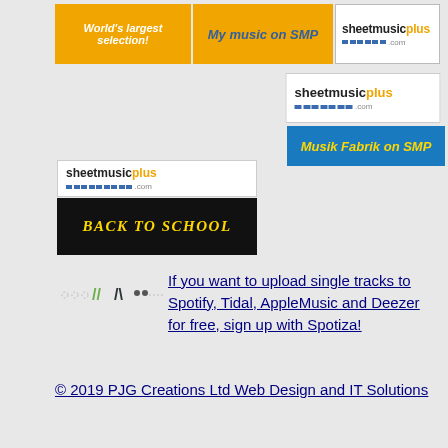[Figure (logo): Sheet Music Plus banner: 'World's largest selection!' in white on orange background]
[Figure (logo): My music on SMP banner in italic text on orange background]
[Figure (logo): Sheet Music Plus logo with blue dots and .com on white background]
[Figure (logo): Sheet Music Plus logo with blue dots on white background]
[Figure (logo): Musik Fabrik on SMP banner with yellow text on blue background]
[Figure (logo): Sheet Music Plus logo with Back to School promotional banner on black background]
[Figure (logo): Spotiza decorative icon/logo]
If you want to upload single tracks to Spotify, Tidal, AppleMusic and Deezer for free, sign up with Spotiza!
© 2019 PJG Creations Ltd Web Design and IT Solutions